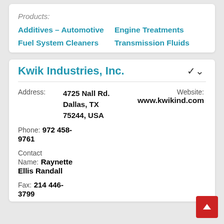Products:
Additives – Automotive
Engine Treatments
Fuel System Cleaners
Transmission Fluids
Kwik Industries, Inc.
Address: 4725 Nall Rd. Dallas, TX 75244, USA
Website: www.kwikind.com
Phone: 972 458-9761
Contact Name: Raynette Ellis Randall
Fax: 214 446-3799